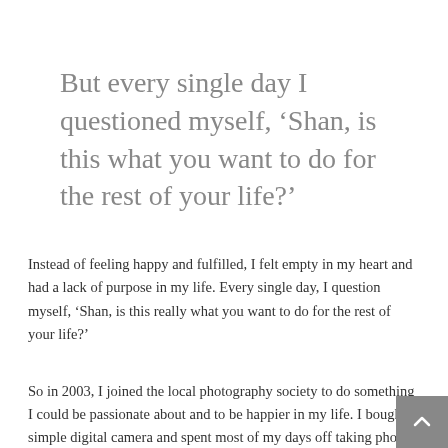But every single day I questioned myself, ‘Shan, is this what you want to do for the rest of your life?’
Instead of feeling happy and fulfilled, I felt empty in my heart and had a lack of purpose in my life. Every single day, I question myself, ‘Shan, is this really what you want to do for the rest of your life?’
So in 2003, I joined the local photography society to do something I could be passionate about and to be happier in my life. I bought a simple digital camera and spent most of my days off taking photos. It felt I found myself and it bought me so much joy! I was surprised that I kept winning the monthly